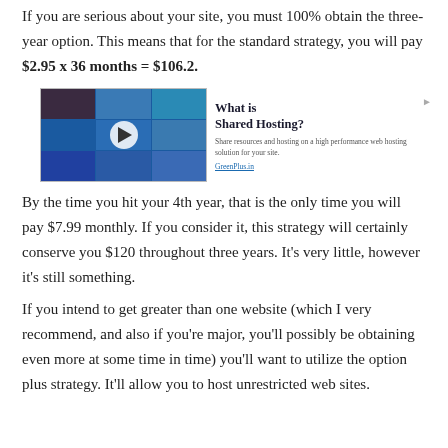If you are serious about your site, you must 100% obtain the three-year option. This means that for the standard strategy, you will pay $2.95 x 36 months = $106.2.
[Figure (screenshot): Video thumbnail showing a grid of people on blue background with a play button, beside text 'What is Shared Hosting?' with description and a link.]
By the time you hit your 4th year, that is the only time you will pay $7.99 monthly. If you consider it, this strategy will certainly conserve you $120 throughout three years. It's very little, however it's still something.
If you intend to get greater than one website (which I very recommend, and also if you're major, you'll possibly be obtaining even more at some time in time) you'll want to utilize the option plus strategy. It'll allow you to host unrestricted web sites.